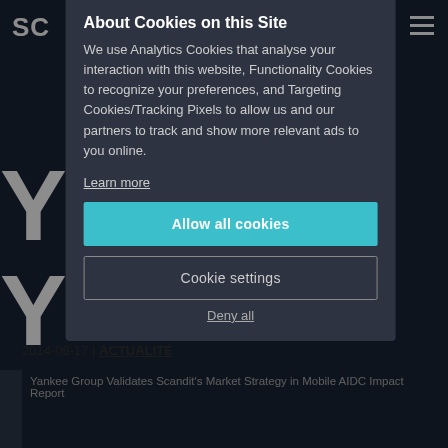SC [logo/nav bar]
About Cookies on this Site
We use Analytics Cookies that analyse your interaction with this website, Functionality Cookies to recognize your preferences, and Targeting Cookies/Tracking Pixels to allow us and our partners to track and show more relevant ads to you online.
Learn more
Allow all cookies
Cookie settings
Deny all
2014-06-17 | ACTUALITÉ
[Figure (screenshot): Broken image placeholder showing alt text: Yankee Group Validates Scandit's Market Strategy in Mobile AIDC Impact Report]